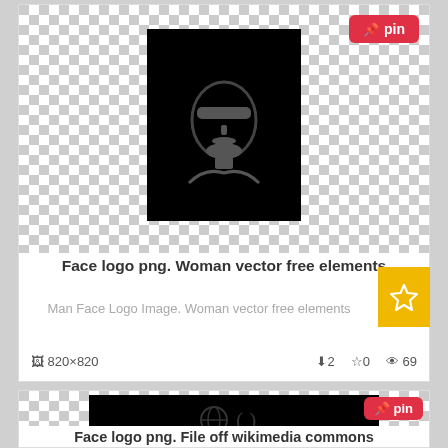[Figure (screenshot): Website listing of clipart/vector images. First card shows a black square thumbnail with a bearded man face icon (vector), checkerboard transparency background, pin button, title 'Face logo png. Woman vector free elements', description text, dimensions 820x820, download count 2, star count 0, views 69, with a yellow star badge. Second card shows a black rectangle thumbnail with a globe/circle icon, pin button, and title 'Face logo png. File off wikimedia commons'.]